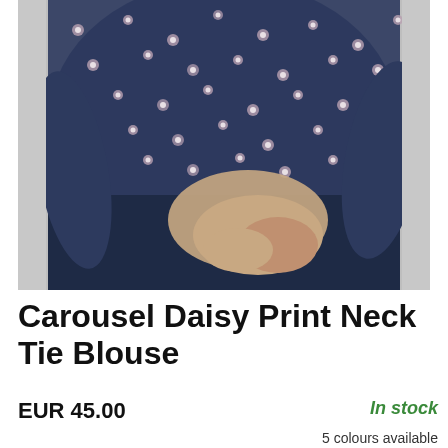[Figure (photo): A woman wearing a floral daisy print blouse with long sleeves in navy blue and pink tones, paired with a navy skirt. The photo is cropped from the neck to hip area, with a light grey background.]
Carousel Daisy Print Neck Tie Blouse
EUR 45.00
In stock
5 colours available